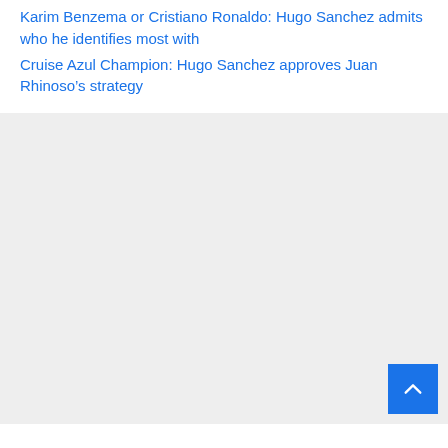Karim Benzema or Cristiano Ronaldo: Hugo Sanchez admits who he identifies most with
Cruise Azul Champion: Hugo Sanchez approves Juan Rhinoso’s strategy
[Figure (other): Light gray background section, empty content area with a blue scroll-to-top button in the bottom right corner containing an upward chevron arrow icon.]